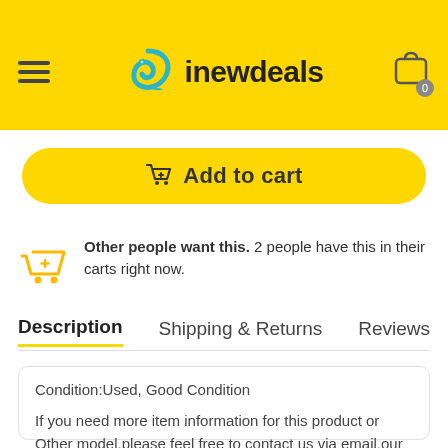Quantity
[Figure (logo): inewdeals logo with teal swirl bird and text 'inewdeals' in bold black, hamburger menu icon on left, shopping bag icon with 0 badge on right, all on yellow header bar]
Add to cart
Other people want this. 2 people have this in their carts right now.
Description   Shipping & Returns   Reviews
Condition:Used, Good Condition

If you need more item information for this product or Other model,please feel free to contact us via email,our sales team is here to help you find the accessories.